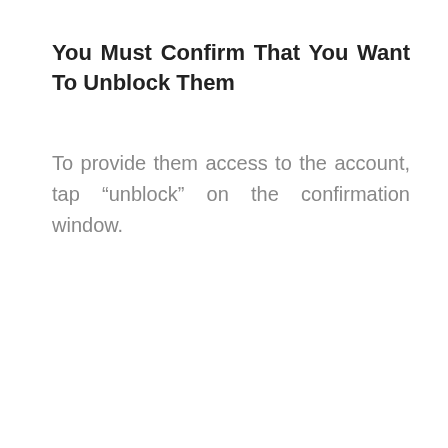You Must Confirm That You Want To Unblock Them
To provide them access to the account, tap “unblock” on the confirmation window.